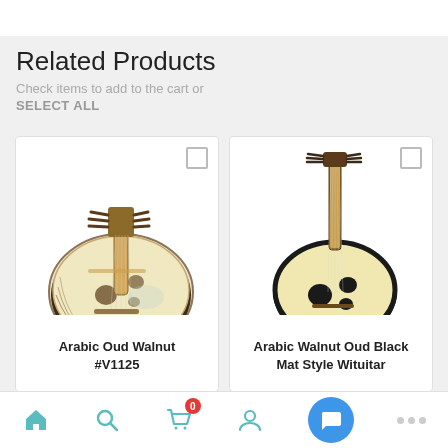Related Products
Check items to add to the cart or
SELECT ALL
[Figure (photo): Arabic Oud Walnut #V1125 - a lute-like string instrument photographed from above on white background]
Arabic Oud Walnut #V1125
[Figure (photo): Arabic Walnut Oud Black Mat Style With Guitar Stand - an oud instrument standing upright on a guitar stand]
Arabic Walnut Oud Black Mat Style With Guitar